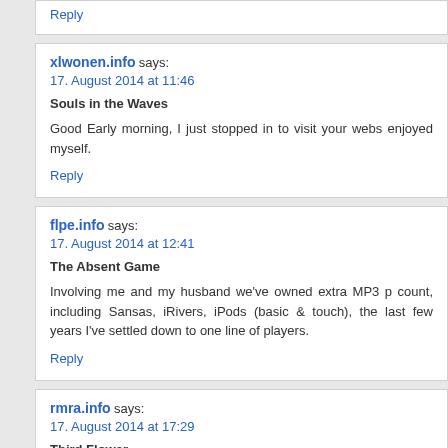Reply
xlwonen.info says:
17. August 2014 at 11:46
Souls in the Waves
Good Early morning, I just stopped in to visit your webs enjoyed myself.
Reply
flpe.info says:
17. August 2014 at 12:41
The Absent Game
Involving me and my husband we've owned extra MP3 p count, including Sansas, iRivers, iPods (basic & touch), the last few years I've settled down to one line of players.
Reply
rmra.info says:
17. August 2014 at 17:29
Third Flower
My wife and that i have already been now delighted that Albe